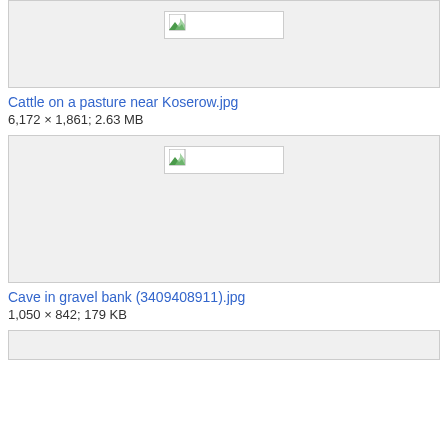[Figure (other): Broken thumbnail image placeholder for Cattle on a pasture near Koserow.jpg]
Cattle on a pasture near Koserow.jpg
6,172 × 1,861; 2.63 MB
[Figure (other): Broken thumbnail image placeholder for Cave in gravel bank (3409408911).jpg]
Cave in gravel bank (3409408911).jpg
1,050 × 842; 179 KB
[Figure (other): Broken thumbnail image placeholder for third image (partial)]